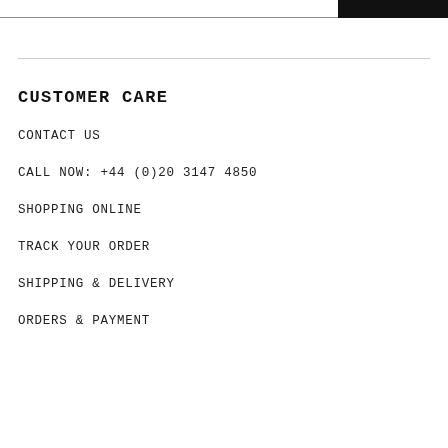CUSTOMER CARE
CONTACT US
CALL NOW: +44 (0)20 3147 4850
SHOPPING ONLINE
TRACK YOUR ORDER
SHIPPING & DELIVERY
ORDERS & PAYMENT